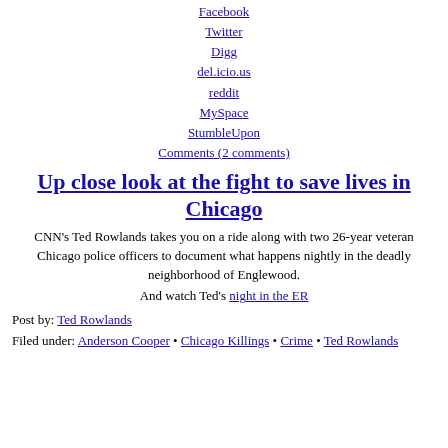Facebook
Twitter
Digg
del.icio.us
reddit
MySpace
StumbleUpon
Comments (2 comments)
Up close look at the fight to save lives in Chicago
CNN’s Ted Rowlands takes you on a ride along with two 26-year veteran Chicago police officers to document what happens nightly in the deadly neighborhood of Englewood.
And watch Ted’s night in the ER
Post by: Ted Rowlands
Filed under: Anderson Cooper • Chicago Killings • Crime • Ted Rowlands